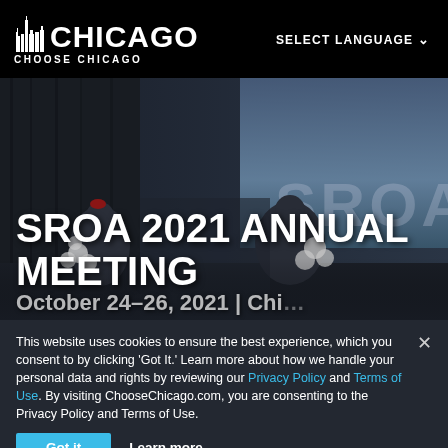CHICAGO / CHOOSE CHICAGO | SELECT LANGUAGE
[Figure (photo): Stage scene with performers in black and white costumes with pom-poms; large SROA letters visible on screen in background]
SROA 2021 ANNUAL MEETING
October 24-26, 2021 | Chi...
This website uses cookies to ensure the best experience, which you consent to by clicking 'Got It.' Learn more about how we handle your personal data and rights by reviewing our Privacy Policy and Terms of Use. By visiting ChooseChicago.com, you are consenting to the Privacy Policy and Terms of Use.
Got it  Learn more